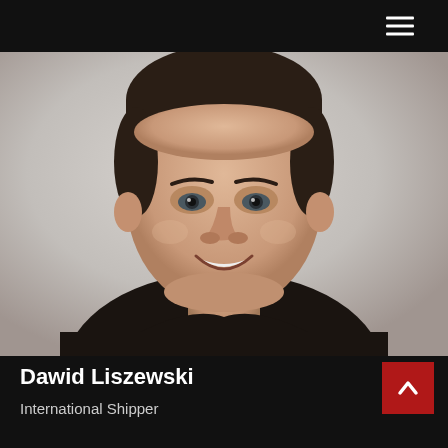[Figure (photo): Professional headshot of a man wearing a black polo shirt, smiling, against a light grey background. The man has short dark hair and is photographed from the shoulders up.]
Dawid Liszewski
International Shipper